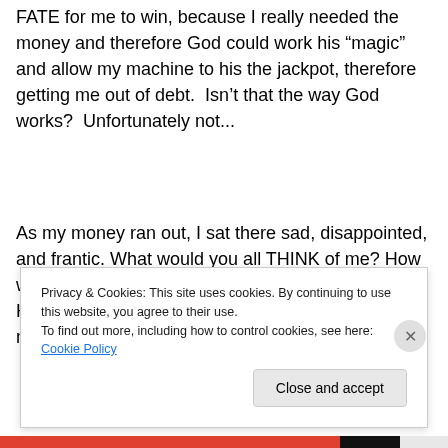FATE for me to win, because I really needed the money and therefore God could work his “magic” and allow my machine to his the jackpot, therefore getting me out of debt.  Isn’t that the way God works?  Unfortunately not...
As my money ran out, I sat there sad, disappointed, and frantic. What would you all THINK of me? How was I going to buy lunch for the rest of the week?  How could I have been so STUPID?!?!?! All my money was gone.
Privacy & Cookies: This site uses cookies. By continuing to use this website, you agree to their use.
To find out more, including how to control cookies, see here: Cookie Policy